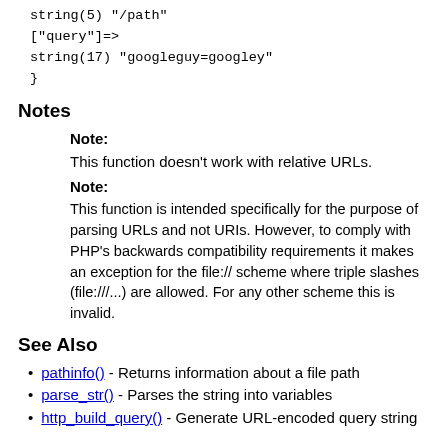string(5) "/path"
["query"]=>
string(17) "googleguy=googley"
}
Notes
Note:
This function doesn't work with relative URLs.
Note:
This function is intended specifically for the purpose of parsing URLs and not URIs. However, to comply with PHP's backwards compatibility requirements it makes an exception for the file:// scheme where triple slashes (file:///...) are allowed. For any other scheme this is invalid.
See Also
pathinfo() - Returns information about a file path
parse_str() - Parses the string into variables
http_build_query() - Generate URL-encoded query string